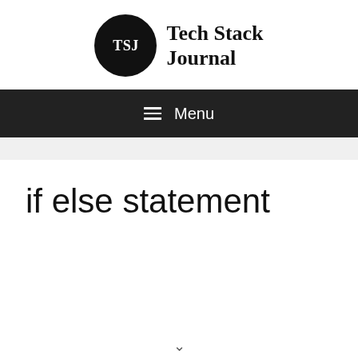[Figure (logo): Tech Stack Journal logo with TSJ in a black circle and bold serif text 'Tech Stack Journal' to the right]
☰ Menu
if else statement